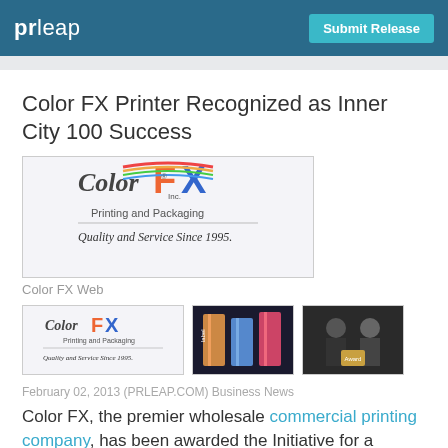prleap | Submit Release
Color FX Printer Recognized as Inner City 100 Success
[Figure (logo): Color FX Inc. Printing and Packaging logo with text 'Quality and Service Since 1995.']
Color FX Web
[Figure (photo): Three thumbnail images: Color FX logo, colorful printed boxes, two men at an awards ceremony]
February 02, 2013 (PRLEAP.COM) Business News
Color FX, the premier wholesale commercial printing company, has been awarded the Initiative for a